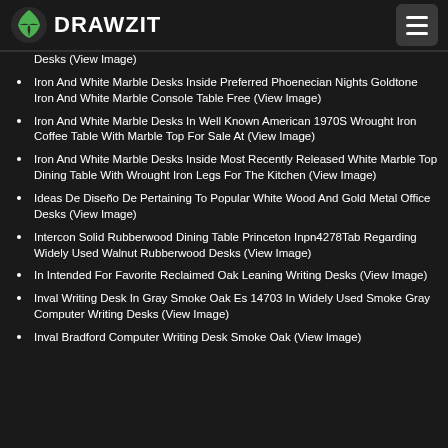DRAWZIT
Desks (View Image)
Iron And White Marble Desks Inside Preferred Phoenecian Nights Goldtone Iron And White Marble Console Table Free (View Image)
Iron And White Marble Desks In Well Known American 1970S Wrought Iron Coffee Table With Marble Top For Sale At (View Image)
Iron And White Marble Desks Inside Most Recently Released White Marble Top Dining Table With Wrought Iron Legs For The Kitchen (View Image)
Ideas De Diseño De Pertaining To Popular White Wood And Gold Metal Office Desks (View Image)
Intercon Solid Rubberwood Dining Table Princeton Inpn4278Tab Regarding Widely Used Walnut Rubberwood Desks (View Image)
In Intended For Favorite Reclaimed Oak Leaning Writing Desks (View Image)
Inval Writing Desk In Gray Smoke Oak Es 14703 In Widely Used Smoke Gray Computer Writing Desks (View Image)
Inval Bradford Computer Writing Desk Smoke Oak (View Image)